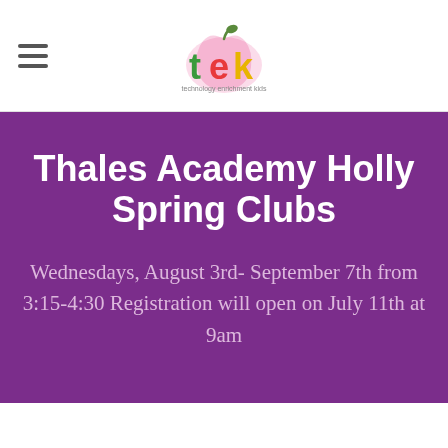TEK - Technology Enrichment Kids logo with hamburger menu
Thales Academy Holly Spring Clubs
Wednesdays, August 3rd- September 7th from 3:15-4:30 Registration will open on July 11th at 9am